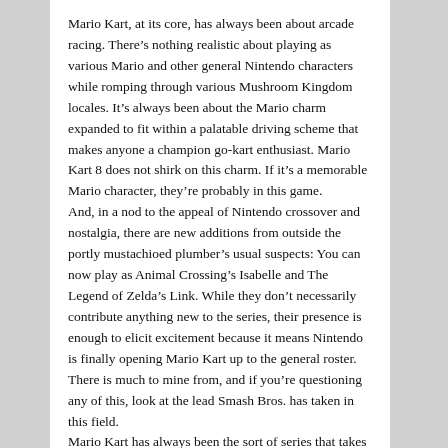Mario Kart, at its core, has always been about arcade racing. There's nothing realistic about playing as various Mario and other general Nintendo characters while romping through various Mushroom Kingdom locales. It's always been about the Mario charm expanded to fit within a palatable driving scheme that makes anyone a champion go-kart enthusiast. Mario Kart 8 does not shirk on this charm. If it's a memorable Mario character, they're probably in this game.
And, in a nod to the appeal of Nintendo crossover and nostalgia, there are new additions from outside the portly mustachioed plumber's usual suspects: You can now play as Animal Crossing's Isabelle and The Legend of Zelda's Link. While they don't necessarily contribute anything new to the series, their presence is enough to elicit excitement because it means Nintendo is finally opening Mario Kart up to the general roster. There is much to mine from, and if you're questioning any of this, look at the lead Smash Bros. has taken in this field.
Mario Kart has always been the sort of series that takes its history seriously. Entries
[Figure (screenshot): A screenshot from Mario Kart showing a racing scene with a colorful outdoor track, green trees, blue sky, and a kart with a blue shell item visible on the left side.]